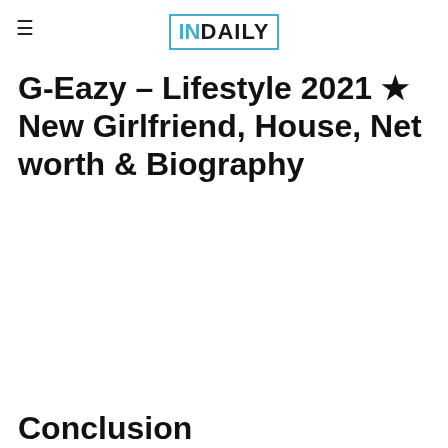INDAILY
G-Eazy – Lifestyle 2021 ★ New Girlfriend, House, Net worth & Biography
Conclusion